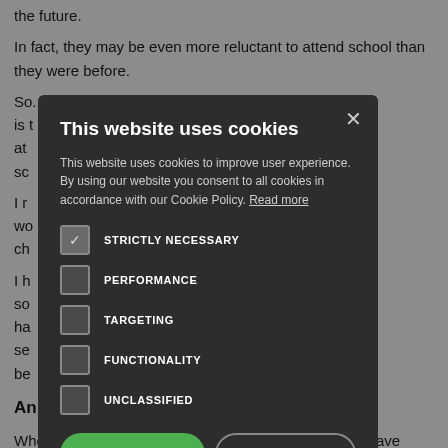the future.
In fact, they may be even more reluctant to attend school than they were before.
So... ? My role every day is to... been non-attenders at... ils who are still in sc...
I r... mething wo... t it, even life- ch...
I h... and education is so... connection ha... involves rebuilding se... mindsets and be...
An...
When you are able to turn around young people who have been written off by schools or others, people want to know how you do it.
[Figure (screenshot): Cookie consent modal dialog on a dark background overlay. Title: 'This website uses cookies'. Body text explains cookies policy. Checkboxes for: STRICTLY NECESSARY (checked), PERFORMANCE, TARGETING, FUNCTIONALITY, UNCLASSIFIED. Buttons: ACCEPT ALL (green), DECLINE ALL (outlined). SHOW DETAILS link at bottom.]